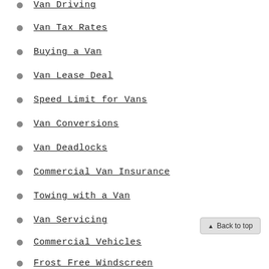Van Driving
Van Tax Rates
Buying a Van
Van Lease Deal
Speed Limit for Vans
Van Conversions
Van Deadlocks
Commercial Van Insurance
Towing with a Van
Van Servicing
Commercial Vehicles
Frost Free Windscreen